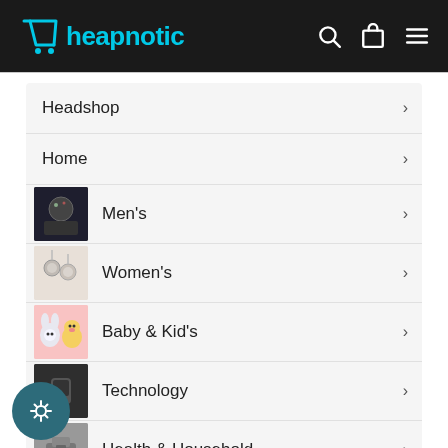Cheapnotic
Headshop
Home
Men's
Women's
Baby & Kid's
Technology
Health & Household